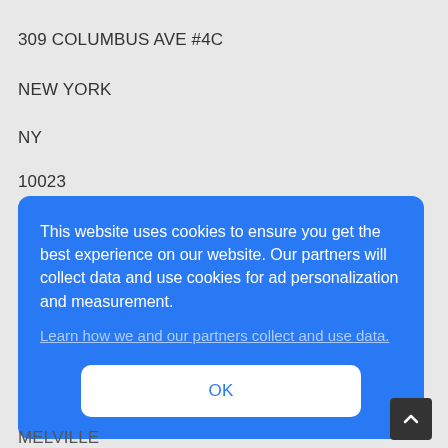309 COLUMBUS AVE #4C
NEW YORK
NY
10023
This website uses cookies to ensure you get the best experience on our website. Our partners will collect data and use cookies for ad personalization and measurement.
Learn how we and our partners collect and use data.
OK
MELVILLE